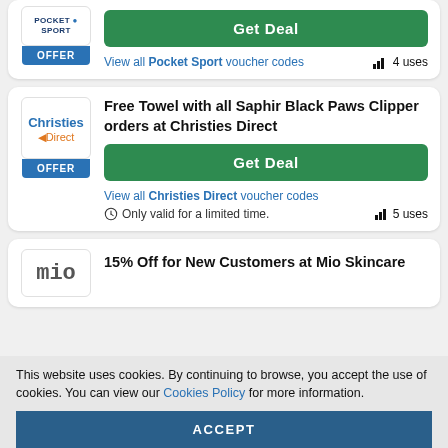[Figure (logo): Pocket Sport logo — partial card at top]
OFFER
[Figure (other): Get Deal green button]
View all Pocket Sport voucher codes  4 uses
[Figure (logo): Christies Direct logo]
OFFER
Free Towel with all Saphir Black Paws Clipper orders at Christies Direct
[Figure (other): Get Deal green button]
View all Christies Direct voucher codes
Only valid for a limited time.  5 uses
[Figure (logo): Mio logo — partial card at bottom]
15% Off for New Customers at Mio Skincare
This website uses cookies. By continuing to browse, you accept the use of cookies. You can view our Cookies Policy for more information.
ACCEPT